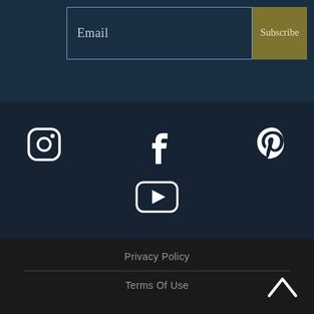Email
Subscribe
[Figure (other): Social media icons row: Instagram, Facebook, Pinterest, and YouTube]
Privacy Policy
Terms Of Use